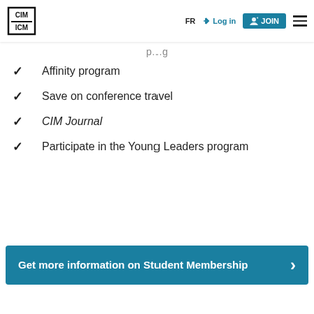CIM ICM | FR | Log in | JOIN
p…g
Affinity program
Save on conference travel
CIM Journal
Participate in the Young Leaders program
Get more information on Student Membership